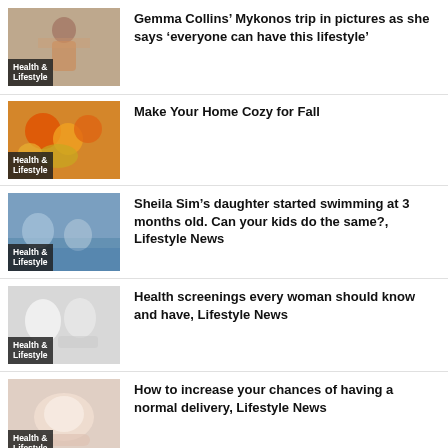[Figure (photo): Person in colorful outfit, Health & Lifestyle thumbnail]
Gemma Collins’ Mykonos trip in pictures as she says ‘everyone can have this lifestyle’
[Figure (photo): Autumn vegetables and pumpkins, Health & Lifestyle thumbnail]
Make Your Home Cozy for Fall
[Figure (photo): Children swimming, Health & Lifestyle thumbnail]
Sheila Sim’s daughter started swimming at 3 months old. Can your kids do the same?, Lifestyle News
[Figure (photo): Women at medical consultation, Health & Lifestyle thumbnail]
Health screenings every woman should know and have, Lifestyle News
[Figure (photo): Baby, Health & Lifestyle thumbnail]
How to increase your chances of having a normal delivery, Lifestyle News